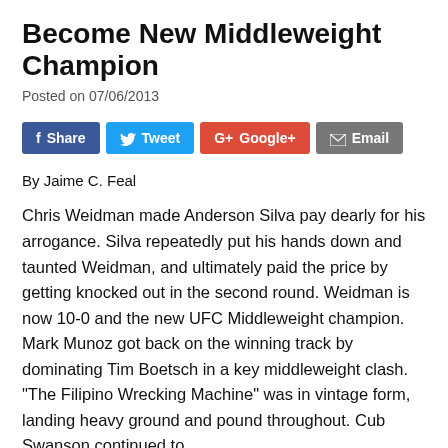Become New Middleweight Champion
Posted on 07/06/2013
[Figure (infographic): Social sharing buttons: Facebook Share, Twitter Tweet, Google+ Google+, Email Email]
By Jaime C. Feal
Chris Weidman made Anderson Silva pay dearly for his arrogance. Silva repeatedly put his hands down and taunted Weidman, and ultimately paid the price by getting knocked out in the second round. Weidman is now 10-0 and the new UFC Middleweight champion. Mark Munoz got back on the winning track by dominating Tim Boetsch in a key middleweight clash. “The Filipino Wrecking Machine” was in vintage form, landing heavy ground and pound throughout. Cub Swanson continued to